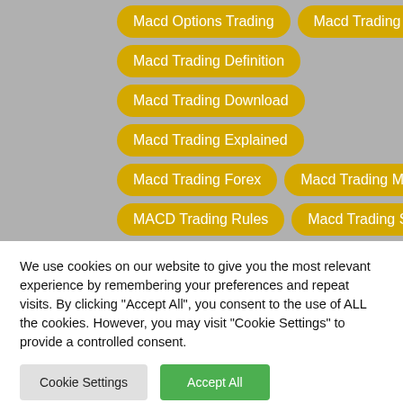[Figure (screenshot): Screenshot of a webpage showing yellow tag/pill buttons for MACD trading topics including: Macd Options Trading, Macd Trading Chart, Macd Trading Definition, Macd Trading Download, Macd Trading Explained, Macd Trading Forex, Macd Trading Meaning, MACD Trading Rules, Macd Trading Signals, Macd Trading Strategy Forex, Macd Trading Strategy Guides, and a partially visible bottom row.]
We use cookies on our website to give you the most relevant experience by remembering your preferences and repeat visits. By clicking "Accept All", you consent to the use of ALL the cookies. However, you may visit "Cookie Settings" to provide a controlled consent.
Cookie Settings
Accept All